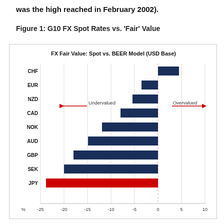was the high reached in February 2002).
Figure 1: G10 FX Spot Rates vs. 'Fair' Value
[Figure (bar-chart): FX Fair Value: Spot vs. BEER Model (USD Base)]